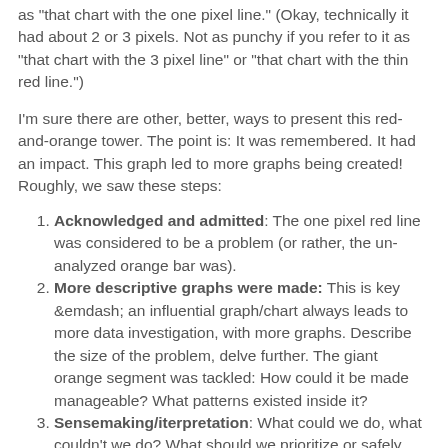as 'that chart with the one pixel line.' (Okay, technically it had about 2 or 3 pixels. Not as punchy if you refer to it as "that chart with the 3 pixel line" or "that chart with the thin red line.")
I'm sure there are other, better, ways to present this red-and-orange tower. The point is: It was remembered. It had an impact. This graph led to more graphs being created! Roughly, we saw these steps:
Acknowledged and admitted: The one pixel red line was considered to be a problem (or rather, the un-analyzed orange bar was).
More descriptive graphs were made: This is key &emdash; an influential graph/chart always leads to more data investigation, with more graphs. Describe the size of the problem, delve further. The giant orange segment was tackled: How could it be made manageable? What patterns existed inside it?
Sensemaking/iterpretation: What could we do, what couldn't we do? What should we prioritize or safely